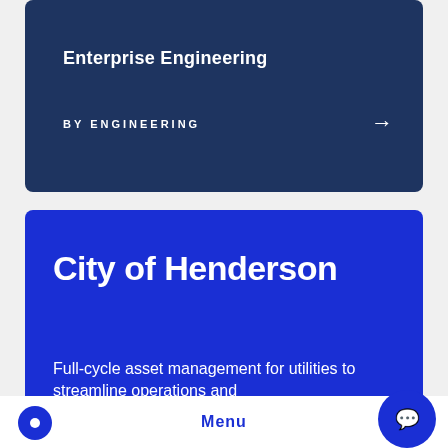Enterprise Engineering
BY ENGINEERING
City of Henderson
Full-cycle asset management for utilities to streamline operations and
Menu